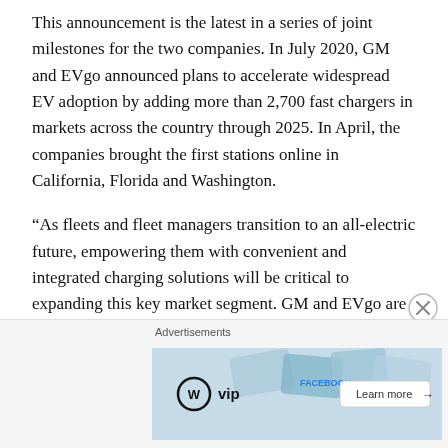This announcement is the latest in a series of joint milestones for the two companies. In July 2020, GM and EVgo announced plans to accelerate widespread EV adoption by adding more than 2,700 fast chargers in markets across the country through 2025. In April, the companies brought the first stations online in California, Florida and Washington.
“As fleets and fleet managers transition to an all-electric future, empowering them with convenient and integrated charging solutions will be critical to expanding this key market segment. GM and EVgo are building on their relationship and will provide solutions for on-the-go to depot charging helping to ensure drivers have access to EVgo’s public charging network, making it easy for fleet drivers to charge when and where they
[Figure (screenshot): Advertisement banner showing WordPress VIP logo on left and 'Learn more' button on right, with colorful card graphics in background]